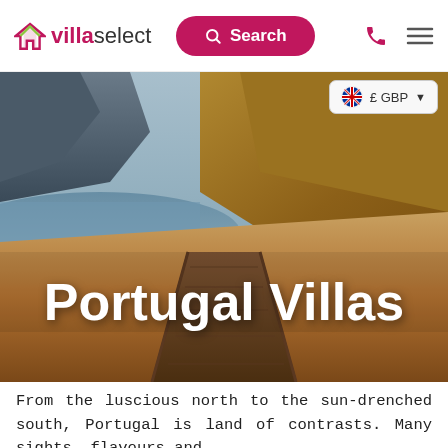villaselect | Search | £ GBP
[Figure (photo): Coastal Portugal landscape with sandy beach, rocky cliffs, blue sea, and a wooden boardwalk in the foreground. Text overlay reads 'Portugal Villas'.]
Portugal Villas
From the luscious north to the sun-drenched south, Portugal is land of contrasts. Many sights, flavours and